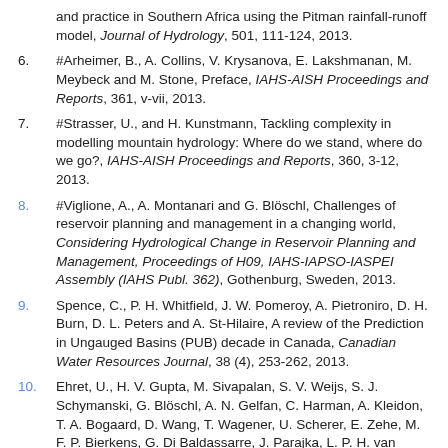and practice in Southern Africa using the Pitman rainfall-runoff model, Journal of Hydrology, 501, 111-124, 2013.
6. #Arheimer, B., A. Collins, V. Krysanova, E. Lakshmanan, M. Meybeck and M. Stone, Preface, IAHS-AISH Proceedings and Reports, 361, v-vii, 2013.
7. #Strasser, U., and H. Kunstmann, Tackling complexity in modelling mountain hydrology: Where do we stand, where do we go?, IAHS-AISH Proceedings and Reports, 360, 3-12, 2013.
8. #Viglione, A., A. Montanari and G. Blöschl, Challenges of reservoir planning and management in a changing world, Considering Hydrological Change in Reservoir Planning and Management, Proceedings of H09, IAHS-IAPSO-IASPEI Assembly (IAHS Publ. 362), Gothenburg, Sweden, 2013.
9. Spence, C., P. H. Whitfield, J. W. Pomeroy, A. Pietroniro, D. H. Burn, D. L. Peters and A. St-Hilaire, A review of the Prediction in Ungauged Basins (PUB) decade in Canada, Canadian Water Resources Journal, 38 (4), 253-262, 2013.
10. Ehret, U., H. V. Gupta, M. Sivapalan, S. V. Weijs, S. J. Schymanski, G. Blöschl, A. N. Gelfan, C. Harman, A. Kleidon, T. A. Bogaard, D. Wang, T. Wagener, U. Scherer, E. Zehe, M. F. P. Bierkens, G. Di Baldassarre, J. Parajka, L. P. H. van Beek, A. van Griensven, M. C. Westhoff and H. C.